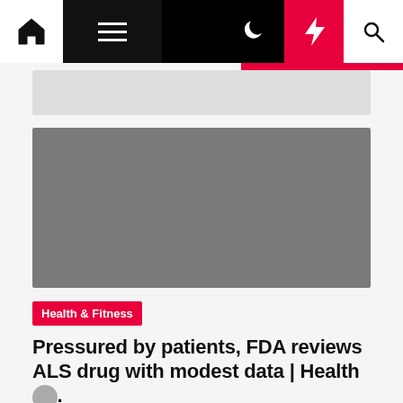Navigation bar with home, menu, moon, flash, and search icons
[Figure (photo): Gray placeholder image for article about FDA reviewing ALS drug]
Health & Fitness
Pressured by patients, FDA reviews ALS drug with modest data | Health &...